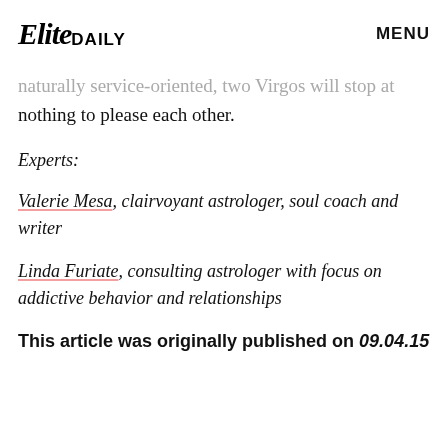Elite Daily | MENU
aspects of intimacy that a partner of a less physical nature will never feel comfortable trying. Sexual and naturally service-oriented, two Virgos will stop at nothing to please each other.
Experts:
Valerie Mesa, clairvoyant astrologer, soul coach and writer
Linda Furiate, consulting astrologer with focus on addictive behavior and relationships
This article was originally published on 09.04.15